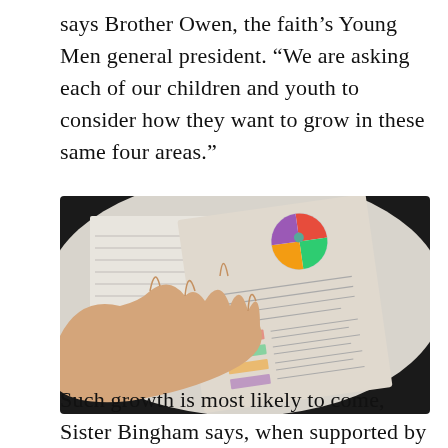says Brother Owen, the faith's Young Men general president. “We are asking each of our children and youth to consider how they want to grow in these same four areas.”
[Figure (photo): A hand holding open a booklet or pamphlet. The booklet features a colorful circular diagram at the top and printed text below. The booklet appears to be a Come Follow Me or youth program guide.]
Such growth is most likely to come, Sister Bingham says, when supported by